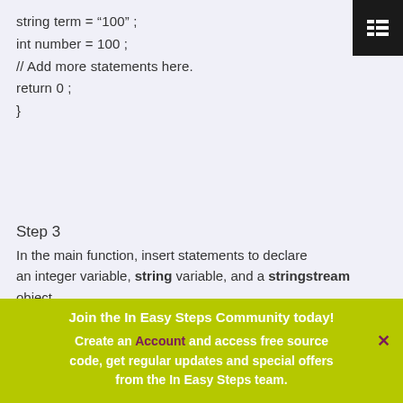string term = "100" ;
int number = 100 ;
// Add more statements here.
return 0 ;
}
Step 3
In the main function, insert statements to declare an integer variable, string variable, and a stringstream object
int num ; // To store a converted string.
string text ; // To store a converted integer.
Join the In Easy Steps Community today!
Create an Account and access free source code, get regular updates and special offers from the In Easy Steps team.